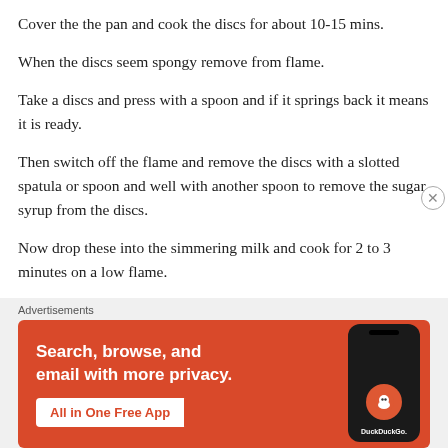Cover the the pan and cook the discs for about 10-15 mins.
When the discs seem spongy remove from flame.
Take a discs and press with a spoon and if it springs back it means it is ready.
Then switch off the flame and remove the discs with a slotted spatula or spoon and well with another spoon to remove the sugar syrup from the discs.
Now drop these into the simmering milk and cook for 2 to 3 minutes on a low flame.
Remove from flame and garnish with nuts and serve warm or refrigerate and serve chilled.
[Figure (other): DuckDuckGo advertisement banner with orange background showing a smartphone with DuckDuckGo logo. Text: 'Search, browse, and email with more privacy. All in One Free App']